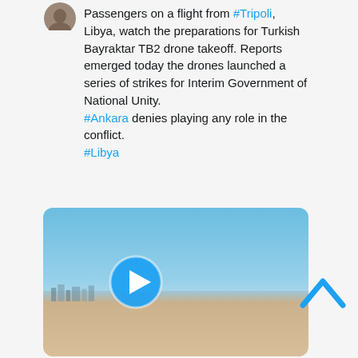[Figure (photo): Circular avatar/profile photo of a person, partially visible at top of tweet card]
Passengers on a flight from #Tripoli, Libya, watch the preparations for Turkish Bayraktar TB2 drone takeoff. Reports emerged today the drones launched a series of strikes for Interim Government of National Unity.
#Ankara denies playing any role in the conflict.
#Libya
[Figure (screenshot): Video thumbnail showing an airport tarmac scene with blue sky and sandy ground, with a circular blue play button overlay in the center]
[Figure (illustration): Blue upward-pointing chevron/caret arrow icon in the bottom right area]